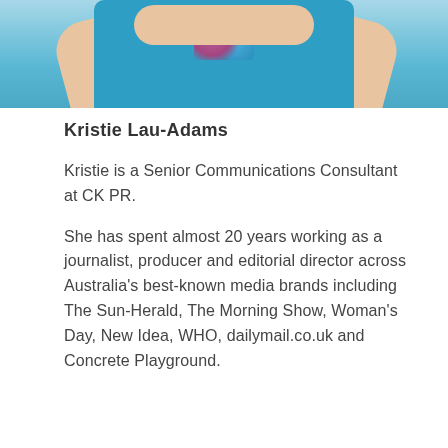[Figure (photo): Cropped photo showing person in bright blue dress with floral pattern, hands on hips, only torso/hands visible]
Kristie Lau-Adams
Kristie is a Senior Communications Consultant at CK PR.
She has spent almost 20 years working as a journalist, producer and editorial director across Australia's best-known media brands including The Sun-Herald, The Morning Show, Woman's Day, New Idea, WHO, dailymail.co.uk and Concrete Playground.